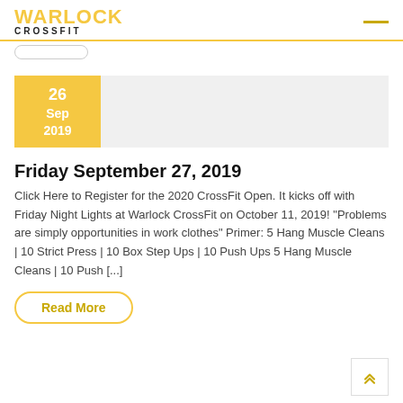WARLOCK CROSSFIT
26 Sep 2019
Friday September 27, 2019
Click Here to Register for the 2020 CrossFit Open. It kicks off with Friday Night Lights at Warlock CrossFit on October 11, 2019! “Problems are simply opportunities in work clothes” Primer: 5 Hang Muscle Cleans | 10 Strict Press | 10 Box Step Ups | 10 Push Ups 5 Hang Muscle Cleans | 10 Push [...]
Read More